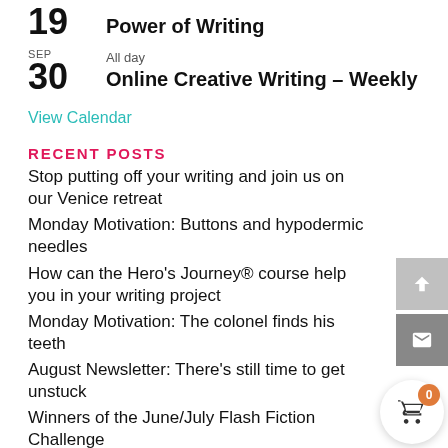19  Power of Writing
SEP 30  All day  Online Creative Writing – Weekly
View Calendar
RECENT POSTS
Stop putting off your writing and join us on our Venice retreat
Monday Motivation: Buttons and hypodermic needles
How can the Hero's Journey® course help you in your writing project
Monday Motivation: The colonel finds his teeth
August Newsletter: There's still time to get unstuck
Winners of the June/July Flash Fiction Challenge
Want to learn the story-telling template used by great screenwriters like George Lucas? Join our Hero's Journey today.